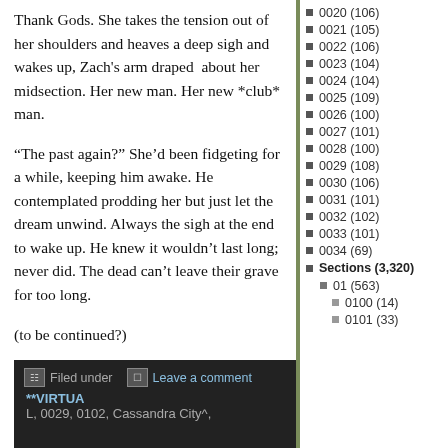Thank Gods. She takes the tension out of her shoulders and heaves a deep sigh and wakes up, Zach's arm draped about her midsection. Her new man. Her new *club* man.
“The past again?” She’d been fidgeting for a while, keeping him awake. He contemplated prodding her but just let the dream unwind. Always the sigh at the end to wake up. He knew it wouldn’t last long; never did. The dead can’t leave their grave for too long.
(to be continued?)
Filed under  Leave a comment **VIRTUA L, 0029, 0102, Cassandra City^,
0020 (106)
0021 (105)
0022 (106)
0023 (104)
0024 (104)
0025 (109)
0026 (100)
0027 (101)
0028 (100)
0029 (108)
0030 (106)
0031 (101)
0032 (102)
0033 (101)
0034 (69)
Sections (3,320)
01 (563)
0100 (14)
0101 (33)